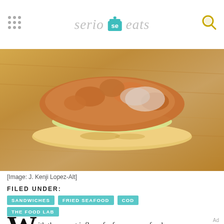serious eats
[Figure (photo): Close-up photo of a fried fish sandwich on a bun with coleslaw, on a wooden cutting board]
[Image: J. Kenji Lopez-Alt]
FILED UNDER:
SANDWICHES
FRIED SEAFOOD
COD
THE FOOD LAB
W ith the recent influx of a few new seafood